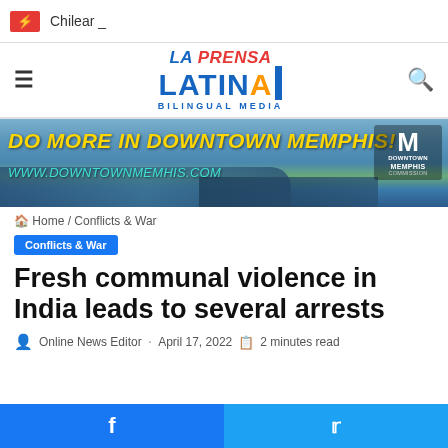⚡ Chilear _
[Figure (logo): La Prensa Latina Bilingual Media logo with hamburger menu and search icon]
[Figure (photo): Advertisement banner: DO MORE IN DOWNTOWN MEMPHIS! www.downtownmemphis.com with Downtown Memphis Commission logo]
🏠 Home / Conflicts & War
Conflicts & War
Fresh communal violence in India leads to several arrests
🧑 Online News Editor · April 17, 2022 📋 2 minutes read
Facebook share | Twitter share